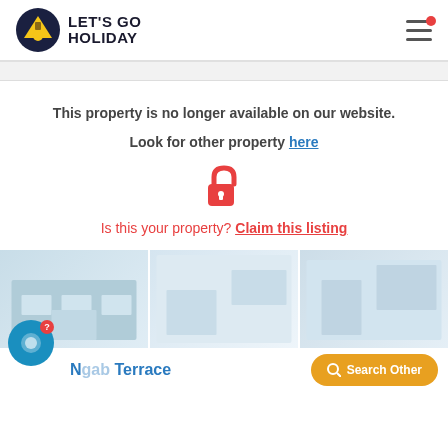LET'S GO HOLIDAY
This property is no longer available on our website.
Look for other property here
[Figure (illustration): Open padlock icon in red/orange color]
Is this your property? Claim this listing
[Figure (photo): Three faded property/room photos side by side]
Ngab Terrace
Search Other